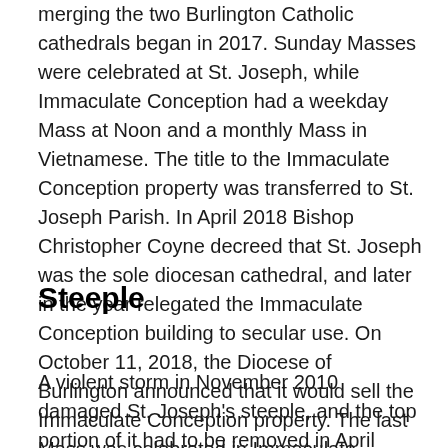merging the two Burlington Catholic cathedrals began in 2017. Sunday Masses were celebrated at St. Joseph, while Immaculate Conception had a weekday Mass at Noon and a monthly Mass in Vietnamese. The title to the Immaculate Conception property was transferred to St. Joseph Parish. In April 2018 Bishop Christopher Coyne decreed that St. Joseph was the sole diocesan cathedral, and later in the year relegated the Immaculate Conception building to secular use. On October 11, 2018, the Diocese of Burlington announced that it would sell the Immaculate Conception property. The last Mass was celebrated in Immaculate Conception Church on December 8, 2018.
Steeple
A violent storm in November 2010 damaged St. Joseph's steeple, and the top portion of it had to be removed in April